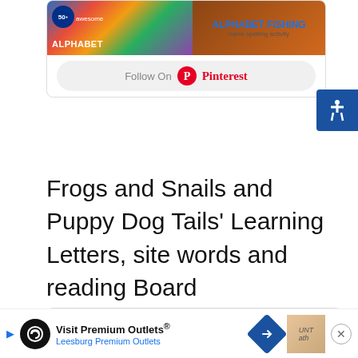[Figure (screenshot): Pinterest widget showing alphabet activity images with '50+ awesome ALPHABET FISHING name spelling activity' and a Follow On Pinterest button below]
Frogs and Snails and Puppy Dog Tails' Learning Letters, site words and reading Board
[Figure (screenshot): Pinterest board embed showing 'Frogs and Snails and Puppy Dog Tail {F...' with subtitle 'Learning is Fun!' and three thumbnail images of letter/learning activities]
[Figure (screenshot): Advertisement bar: Visit Premium Outlets® Leesburg Premium Outlets with infinity logo and navigation arrow icon]